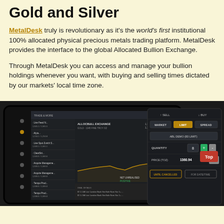Gold and Silver
MetalDesk truly is revolutionary as it's the world's first institutional 100% allocated physical precious metals trading platform. MetalDesk provides the interface to the global Allocated Bullion Exchange.
Through MetalDesk you can access and manage your bullion holdings whenever you want, with buying and selling times dictated by our markets' local time zone.
[Figure (screenshot): Screenshot of MetalDesk trading platform showing a tablet interface with gold/silver trading data, charts, and a side panel with SELL/BUY buttons, MARKET/LIMIT/SPREAD options, quantity field showing 8, price field showing 1360.94, UNTIL CANCELLED and FOR DATE/TIME buttons, and a red Top button.]